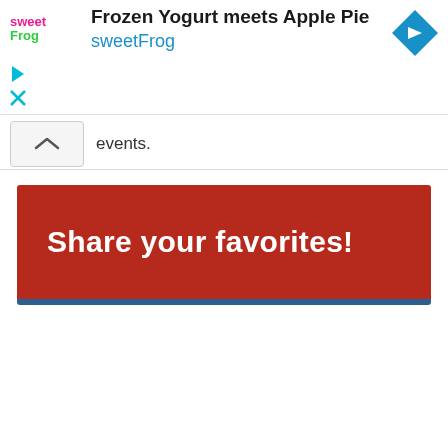[Figure (screenshot): Ad banner for sweetFrog frozen yogurt. Shows sweetFrog logo on left, title 'Frozen Yogurt meets Apple Pie' and subtitle 'sweetFrog' in cyan, blue navigation arrow diamond icon top right, play and close icons below logo.]
events.
Share your favorites!